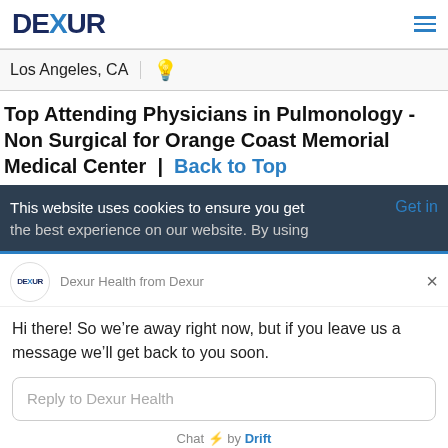DEXUR
Los Angeles, CA
Top Attending Physicians in Pulmonology - Non Surgical for Orange Coast Memorial Medical Center  |  Back to Top
Get in
This website uses cookies to ensure you get the best experience on our website. By using
Dexur Health from Dexur
Hi there! So we're away right now, but if you leave us a message we'll get back to you soon.
Reply to Dexur Health
Chat ⚡ by Drift